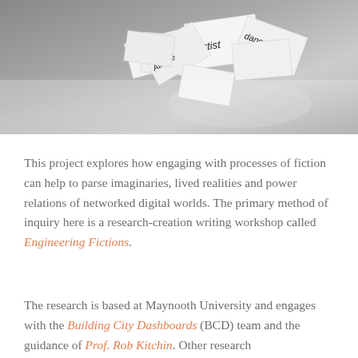[Figure (photo): Black and white photograph of scattered paper cards/notes on a wooden table surface. Some cards have words written on them including 'Artist', 'Athlete', and 'dancer'.]
This project explores how engaging with processes of fiction can help to parse imaginaries, lived realities and power relations of networked digital worlds. The primary method of inquiry here is a research-creation writing workshop called Engineering Fictions.
The research is based at Maynooth University and engages with the Building City Dashboards (BCD) team and the guidance of Prof. Rob Kitchin. Other research